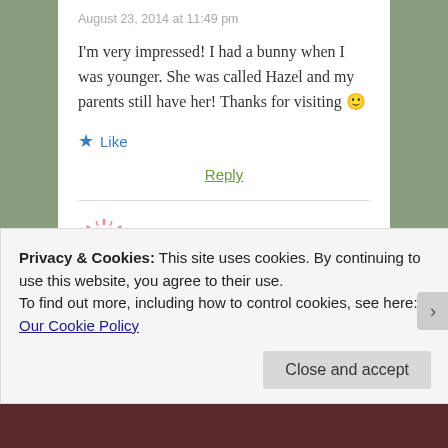August 23, 2014 at 11:49 pm
I'm very impressed! I had a bunny when I was younger. She was called Hazel and my parents still have her! Thanks for visiting 🙂
★ Like
Reply
Moira McCullough
August 23, 2014 at 11:02 pm
Privacy & Cookies: This site uses cookies. By continuing to use this website, you agree to their use.
To find out more, including how to control cookies, see here: Our Cookie Policy
Close and accept